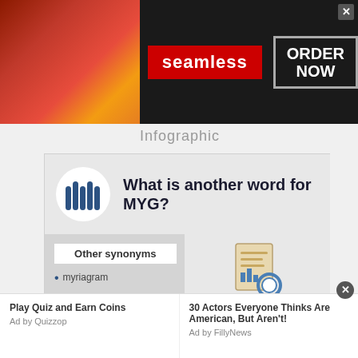[Figure (infographic): Advertisement banner for Seamless food delivery with pizza image, Seamless logo in red, and ORDER NOW button]
Infographic
[Figure (infographic): Infographic asking 'What is another word for MYG?' with two columns: left showing 'Other synonyms' with bullet 'myriagram', right showing a document search icon and 'Synonyms' section listing nouns: myg (noun) - myriagram, quantity (noun) - myriagram]
[Figure (infographic): Bottom advertisement bar with 'Play Quiz and Earn Coins - Ad by Quizzop' on left and '30 Actors Everyone Thinks Are American, But Aren't! - Ad by FillyNews' on right]